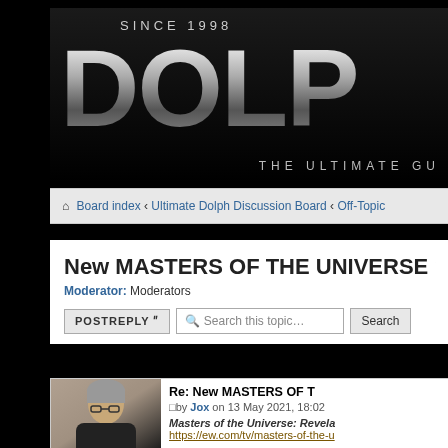[Figure (logo): Dolph fan site banner reading SINCE 1998, DOLP[H], THE ULTIMATE GU[IDE] on black background with metallic gradient text]
Board index ‹ Ultimate Dolph Discussion Board ‹ Off-Topic
New MASTERS OF THE UNIVERSE movie (
Moderator: Moderators
POSTREPLY | Search this topic... Search
Re: New MASTERS OF T[HE UNIVERSE]
by Jox on 13 May 2021, 18:02
Masters of the Universe: Revela[tion]
https://ew.com/tv/masters-of-the-u[niverse]